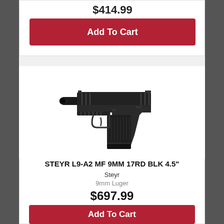$414.99
Add To Cart
[Figure (photo): Steyr L9-A2 MF 9mm semi-automatic pistol, black finish, shown in left-facing profile view]
STEYR L9-A2 MF 9MM 17RD BLK 4.5"
Steyr
9mm Luger
$697.99
Add To Cart